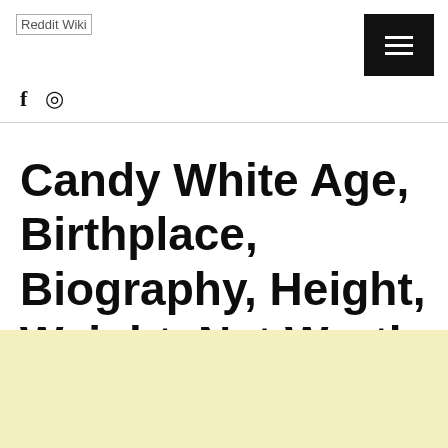Reddit Wiki
f  ⊕
Candy White Age, Birthplace, Biography, Height, Weight, Net Worth